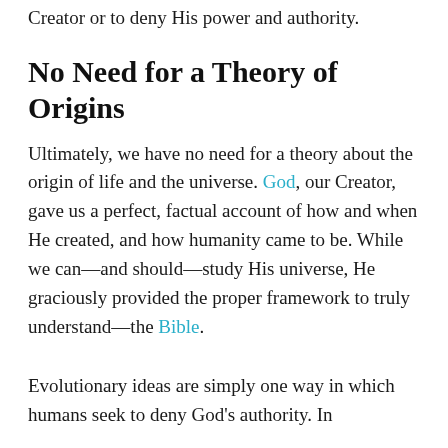Creator or to deny His power and authority.
No Need for a Theory of Origins
Ultimately, we have no need for a theory about the origin of life and the universe. God, our Creator, gave us a perfect, factual account of how and when He created, and how humanity came to be. While we can—and should—study His universe, He graciously provided the proper framework to truly understand—the Bible.
Evolutionary ideas are simply one way in which humans seek to deny God's authority. In